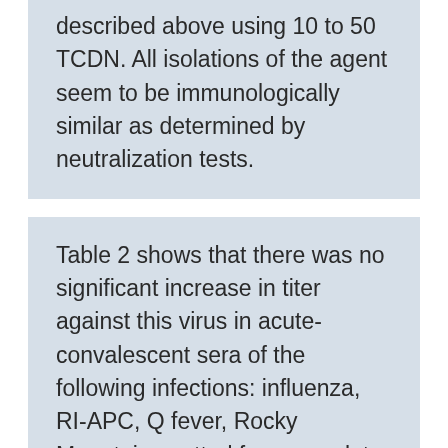described above using 10 to 50 TCDN. All isolations of the agent seem to be immunologically similar as determined by neutralization tests.
Table 2 shows that there was no significant increase in titer against this virus in acute-convalescent sera of the following infections: influenza, RI-APC, Q fever, Rocky Mountain spotted fever, scarlet fever, streptococcal sore throat, rheumatic fever, and poliomyelitis. All